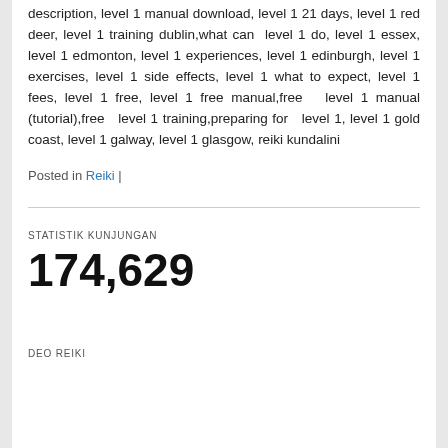description, level 1 manual download, level 1 21 days, level 1 red deer, level 1 training dublin,what can level 1 do, level 1 essex, level 1 edmonton, level 1 experiences, level 1 edinburgh, level 1 exercises, level 1 side effects, level 1 what to expect, level 1 fees, level 1 free, level 1 free manual,free level 1 manual (tutorial),free level 1 training,preparing for level 1, level 1 gold coast, level 1 galway, level 1 glasgow, reiki kundalini
Posted in Reiki |
STATISTIK KUNJUNGAN
174,629
DEO REIKI